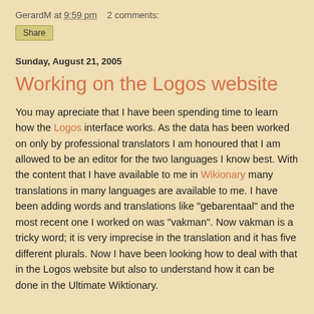GerardM at 9:59 pm    2 comments:
Share
Sunday, August 21, 2005
Working on the Logos website
You may apreciate that I have been spending time to learn how the Logos interface works. As the data has been worked on only by professional translators I am honoured that I am allowed to be an editor for the two languages I know best. With the content that I have available to me in Wikionary many translations in many languages are available to me. I have been adding words and translations like "gebarentaal" and the most recent one I worked on was "vakman". Now vakman is a tricky word; it is very imprecise in the translation and it has five different plurals. Now I have been looking how to deal with that in the Logos website but also to understand how it can be done in the Ultimate Wiktionary.